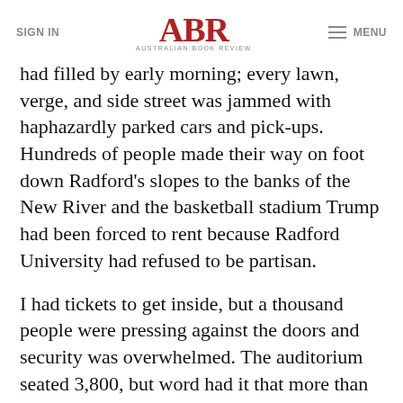SIGN IN | ABR AUSTRALIAN BOOK REVIEW | MENU
had filled by early morning; every lawn, verge, and side street was jammed with haphazardly parked cars and pick-ups. Hundreds of people made their way on foot down Radford's slopes to the banks of the New River and the basketball stadium Trump had been forced to rent because Radford University had refused to be partisan.
I had tickets to get inside, but a thousand people were pressing against the doors and security was overwhelmed. The auditorium seated 3,800, but word had it that more than 10,000 people were coming. A Jumbotron had been set up outside to